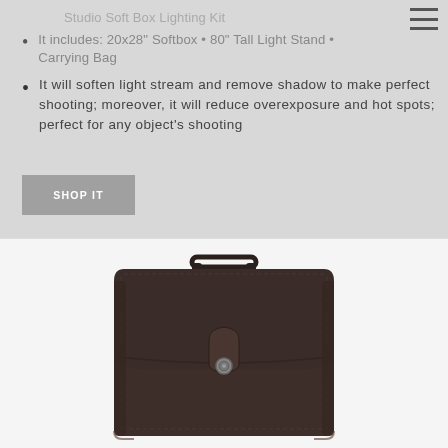Studio Soft Box Lighting Kit
It includes: 20x28" Softbox • 80" Tall Light Stand • Carrying Bag
It will soften light stream and remove shadow to make perfect shooting; moreover, it will reduce overexposure and hot spots; perfect for any object's shooting
SHOP IT
[Figure (photo): A dark brown leather satchel/briefcase bag with a top handle, front flap with a button clasp, and visible stitching detail, photographed against a white background.]